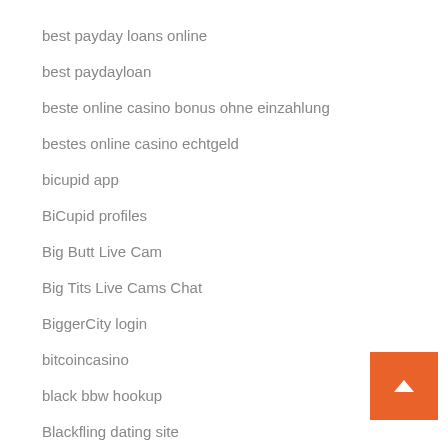best payday loans online
best paydayloan
beste online casino bonus ohne einzahlung
bestes online casino echtgeld
bicupid app
BiCupid profiles
Big Butt Live Cam
Big Tits Live Cams Chat
BiggerCity login
bitcoincasino
black bbw hookup
Blackfling dating site
Blacks Porn
Blog
bob casino
[Figure (other): Orange back-to-top button with white upward arrow chevron, positioned at bottom right corner]